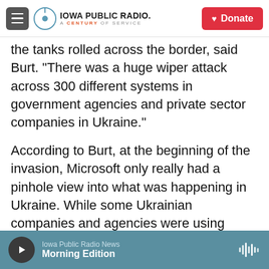Iowa Public Radio. A Century of Service. Donate.
the tanks rolled across the border, said Burt. "There was a huge wiper attack across 300 different systems in government agencies and private sector companies in Ukraine."
According to Burt, at the beginning of the invasion, Microsoft only really had a pinhole view into what was happening in Ukraine. While some Ukrainian companies and agencies were using Microsoft products, where the company is routinely looking for threats, very few were using the cloud, where Microsoft has the most insights. Before the war, there was actually a law that prevented Ukranian
Iowa Public Radio News
Morning Edition